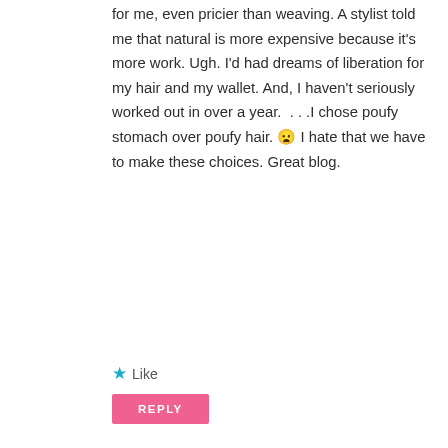for me, even pricier than weaving. A stylist told me that natural is more expensive because it's more work. Ugh. I'd had dreams of liberation for my hair and my wallet. And, I haven't seriously worked out in over a year....I chose poufy stomach over poufy hair. 😦 I hate that we have to make these choices. Great blog.
★ Like
REPLY
Kay Ware
October 3, 2015
[Figure (illustration): Gray circular avatar placeholder with silhouette of a person]
I'm in the beginning stage of transitioning. I don't like my wavy roots as of yet but, I'm going to see where this leads me. I do need recommendactions for good product to use & maintain healthy, shiny, not dry brittle hair & straighten. I really want